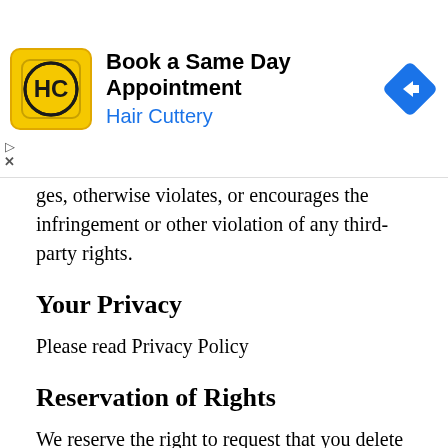[Figure (infographic): Hair Cuttery advertisement banner: yellow square logo with HC letters, text 'Book a Same Day Appointment / Hair Cuttery' in black and blue, blue diamond direction arrow on right]
ges, otherwise violates, or encourages the infringement or other violation of any third-party rights.
Your Privacy
Please read Privacy Policy
Reservation of Rights
We reserve the right to request that you delete any and all connections to our Website or particular links to our Website. Upon our request, you undertake to immediately disconnect any connections to our website. These terms and conditions, as well as the linking policy, are subject to change at any time. If you